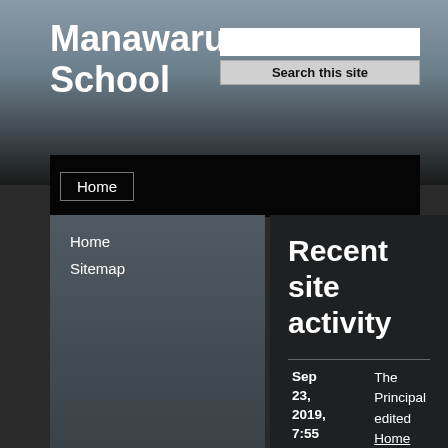Manawaru School
Search this site
Home
Home
Sitemap
Recent site activity
| Date | Activity |
| --- | --- |
| Sep 23, 2019, 7:55 PM | The Principal edited Home |
| Sep 23, 2019, 7:54 PM | The Principal deleted Calendar |
| Sep | The Principal deleted |